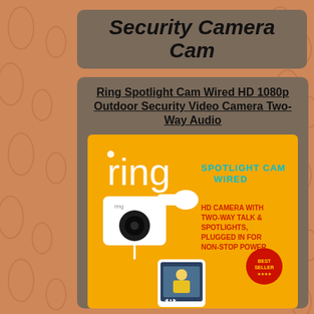Security Camera Cam
Ring Spotlight Cam Wired HD 1080p Outdoor Security Video Camera Two-Way Audio
[Figure (photo): Product box image of Ring Spotlight Cam Wired showing the white camera hardware and orange box with text: ring, SPOTLIGHT CAM WIRED, HD CAMERA WITH TWO-WAY TALK & SPOTLIGHTS, PLUGGED IN FOR NON-STOP POWER, with a BESTSELLER badge and a smartphone screen showing a video feed.]